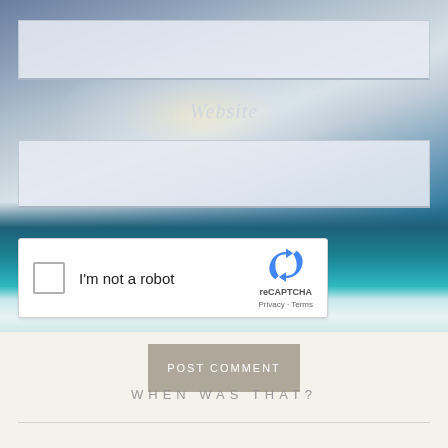[Figure (screenshot): Ocean and sky background with dramatic waves and light glowing on horizon]
Website
[Figure (other): reCAPTCHA widget with checkbox labeled I'm not a robot]
POST COMMENT
WHEN WAS THAT?